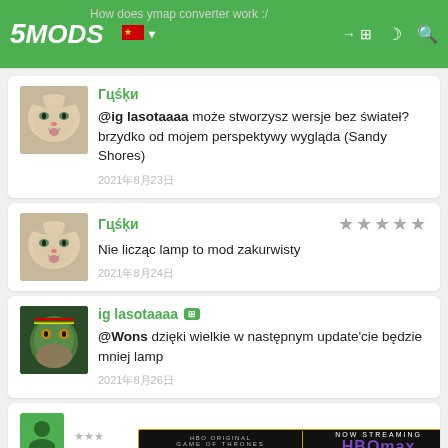5MODS — How does ymap converter work :/ navigation bar
Гцśķи
@ig lasotaaaa może stworzysz wersje bez świateł? brzydko od mojem perspektywy wygląda (Sandy Shores)
2021年8月23日
Гцśķи
Nie licząc lamp to mod zakurwisty
2021年8月24日
ig lasotaaaa
@Wons dzięki wielkie w następnym update'cie będzie mniej lamp
2021年8月26日
[Figure (screenshot): Partial comment with avatar and stars at bottom, partially obscured by HBO Max House of the Dragon advertisement banner]